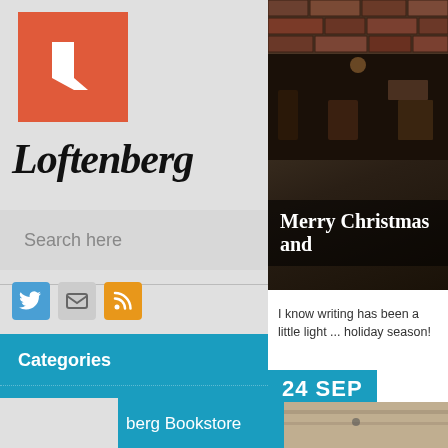[Figure (logo): Loftenberg logo — orange/red square with white L shape]
Loftenberg
Search here
[Figure (illustration): Social icons: Twitter (blue bird), Email (envelope), RSS (orange feed icon)]
Categories
About this site
← Older  berg Bookstore
[Figure (photo): Dark atmospheric photo of what appears to be a bar or restaurant interior with brick walls]
Merry Christmas and
I know writing has been a little light ... holiday season!
24 SEP
[Figure (photo): A lighter colored shelf or counter area]